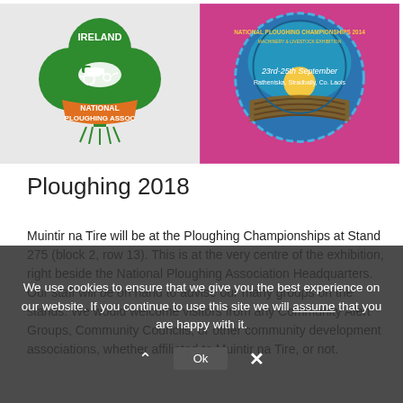[Figure (logo): National Ploughing Association Ireland logo — green shamrock with tractor and plough, orange banner reading NATIONAL PLOUGHING ASSOC]
[Figure (logo): National Ploughing Championships 2014 circular logo on pink/magenta background with ploughed field, text: 23rd-25th September, Ratheniska, Stradbally, Co. Laois]
Ploughing 2018
Muintir na Tire will be at the Ploughing Championships at Stand 275 (block 2, row 13). This is at the very centre of the exhibition, right beside the National Ploughing Association Headquarters. Our staff will be on hand to advise our many groups on the stands. We would welcome visitors from any Community Alert Groups, Community Councils, or other community development associations, whether affiliated to Muintir na Tire, or not.
We use cookies to ensure that we give you the best experience on our website. If you continue to use this site we will assume that you are happy with it.